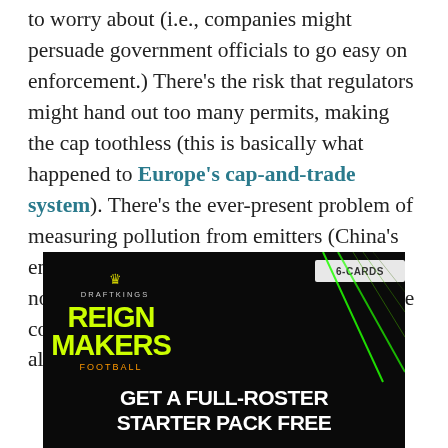to worry about (i.e., companies might persuade government officials to go easy on enforcement.) There's the risk that regulators might hand out too many permits, making the cap toothless (this is basically what happened to Europe's cap-and-trade system). There's the ever-present problem of measuring pollution from emitters (China's energy statistics are notoriously unreliable; no one can even agree on how much coal the country uses). In theory, these issues are are all solvable, but they're far from simple.
[Figure (other): DraftKings Reign Makers Football advertisement. Black background with green laser lines. Badge reading '6-CARDS' in top right. Logo with crown, 'DRAFTKINGS', 'REIGN MAKERS', 'FOOTBALL' in yellow-green and orange. Text: 'GET A FULL-ROSTER STARTER PACK FREE']